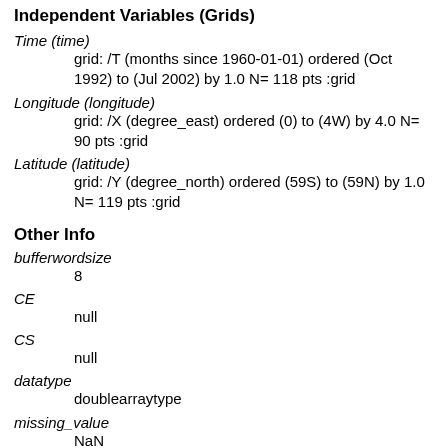Independent Variables (Grids)
Time (time)
    grid: /T (months since 1960-01-01) ordered (Oct 1992) to (Jul 2002) by 1.0 N= 118 pts :grid
Longitude (longitude)
    grid: /X (degree_east) ordered (0) to (4W) by 4.0 N= 90 pts :grid
Latitude (latitude)
    grid: /Y (degree_north) ordered (59S) to (59N) by 1.0 N= 119 pts :grid
Other Info
bufferwordsize
    8
CE
    null
CS
    null
datatype
    doublearraytype
missing_value
    NaN